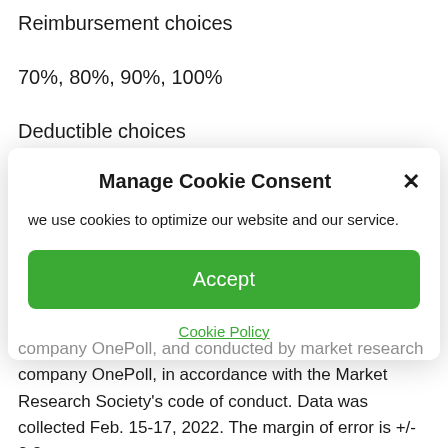Reimbursement choices
70%, 80%, 90%, 100%
Deductible choices
Manage Cookie Consent
we use cookies to optimize our website and our service.
Accept
Cookie Policy
company OnePoll, in accordance with the Market Research Society's code of conduct. Data was collected Feb. 15-17, 2022. The margin of error is +/- 2.2 points with 95% confidence. This survey was overseen by the OnePoll research team, which is a member of